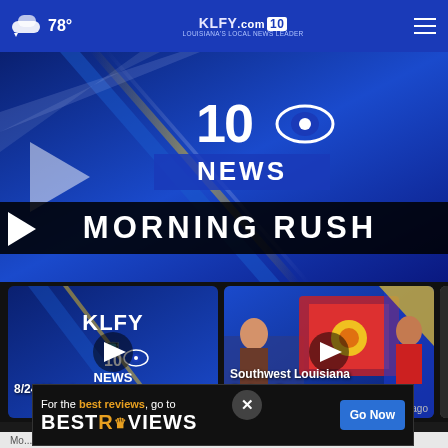78° KLFY.com 10 Louisiana's Local News Leader
[Figure (screenshot): KLFY 10 News Morning Rush video player hero with play button overlay and title bar]
[Figure (screenshot): 8/24 Morning Rush video thumbnail with KLFY NEWS logo and play button]
8/24 Morning Rush
57 mins ago
[Figure (screenshot): Southwest Louisiana Zydeco Fest video thumbnail with play button]
Southwest Louisiana Zydeco Fest
59 ... ago
[Figure (screenshot): Partial third video thumbnail labeled 8/24 P (PASS)]
[Figure (screenshot): BestReviews advertisement banner: For the best reviews, go to BESTREVIEWS with Go Now button]